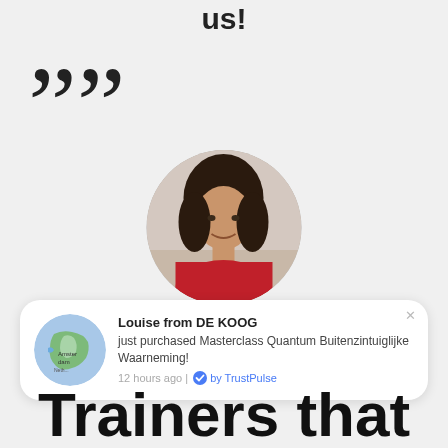us!
””
[Figure (photo): Circular profile photo of Rebekka Demuynck, a woman with dark hair wearing a red top]
Rebekka Demuynck
Belgium
[Figure (infographic): TrustPulse notification popup showing: Louise from DE KOOG just purchased Masterclass Quantum Buitenzintuiglijke Waarneming! 12 hours ago | by TrustPulse, with a map thumbnail of the Netherlands/Amsterdam area]
Trainers that